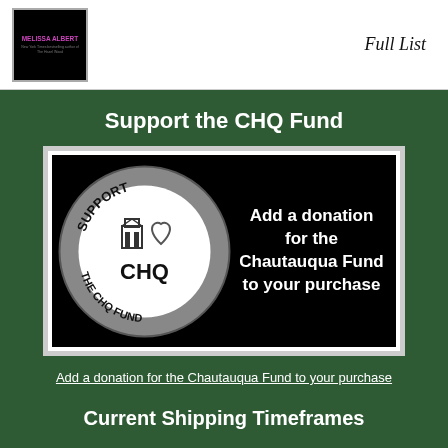[Figure (logo): Book cover showing 'MELISSA ALBERT' in pink/purple text on dark background]
Full List
Support the CHQ Fund
[Figure (illustration): Black background promotional image with a circular grayscale 'Support the CHQ Fund' badge on the left showing a building/tower icon and heart, and bold white text on the right reading 'Add a donation for the Chautauqua Fund to your purchase']
Add a donation for the Chautauqua Fund to your purchase
Current Shipping Timeframes